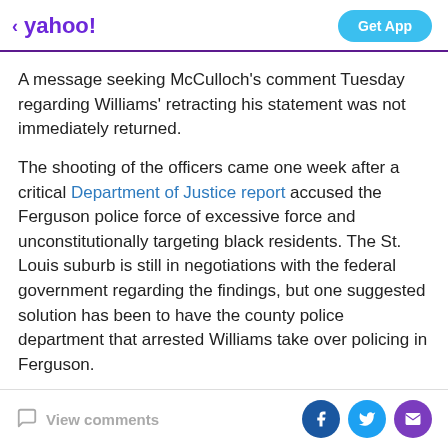yahoo!  Get App
A message seeking McCulloch's comment Tuesday regarding Williams' retracting his statement was not immediately returned.
The shooting of the officers came one week after a critical Department of Justice report accused the Ferguson police force of excessive force and unconstitutionally targeting black residents. The St. Louis suburb is still in negotiations with the federal government regarding the findings, but one suggested solution has been to have the county police department that arrested Williams take over policing in Ferguson.
View comments